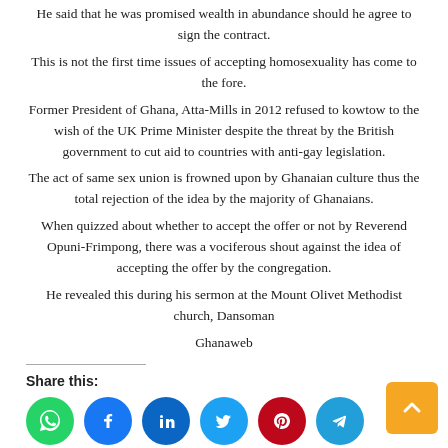He said that he was promised wealth in abundance should he agree to sign the contract.
This is not the first time issues of accepting homosexuality has come to the fore.
Former President of Ghana, Atta-Mills in 2012 refused to kowtow to the wish of the UK Prime Minister despite the threat by the British government to cut aid to countries with anti-gay legislation.
The act of same sex union is frowned upon by Ghanaian culture thus the total rejection of the idea by the majority of Ghanaians.
When quizzed about whether to accept the offer or not by Reverend Opuni-Frimpong, there was a vociferous shout against the idea of accepting the offer by the congregation.
He revealed this during his sermon at the Mount Olivet Methodist church, Dansoman
Ghanaweb
Share this:
[Figure (other): Social media share icons: WhatsApp, Facebook, LinkedIn, Twitter, Pinterest, Telegram]
Like this: